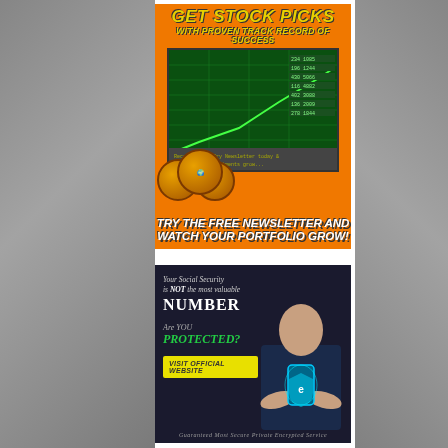[Figure (infographic): Stock picks advertisement with orange background, green stock chart display, gold coins, yellow bold text 'GET STOCK PICKS WITH PROVEN TRACK RECORD OF SUCCESS' and 'TRY THE FREE NEWSLETTER AND WATCH YOUR PORTFOLIO GROW!']
[Figure (infographic): Cybersecurity advertisement with dark background and businessman holding glowing shield/phone, text: 'Your Social Security is NOT the most valuable NUMBER', 'Are YOU PROTECTED?', 'VISIT OFFICIAL WEBSITE' button, 'Guaranteed Most Secure Private Encrypted Service']